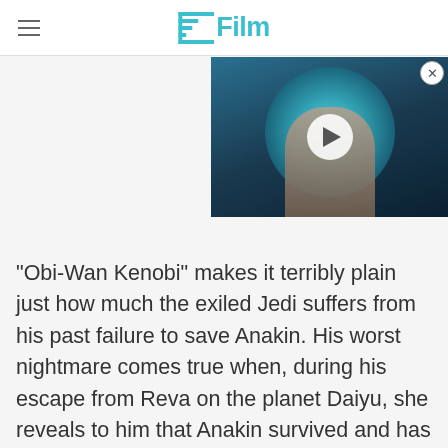/Film
[Figure (screenshot): Video thumbnail showing a man with mouth open wide, in front of circular blue machinery, with a white play button overlay in the center. A close (X) button is in the top-right corner.]
"Obi-Wan Kenobi" makes it terribly plain just how much the exiled Jedi suffers from his past failure to save Anakin. His worst nightmare comes true when, during his escape from Reva on the planet Daiyu, she reveals to him that Anakin survived and has gone on to become the immensely powerful Darth Vader. Reaching out with the Force in complete and